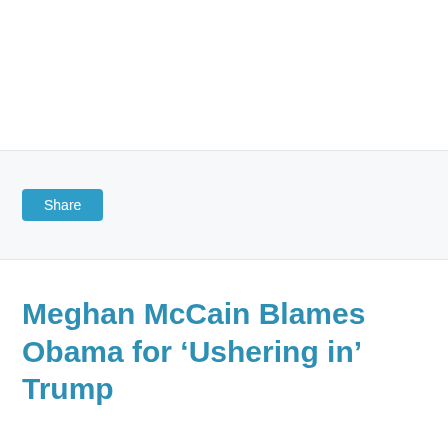Share
Meghan McCain Blames Obama for ‘Ushering in’ Trump